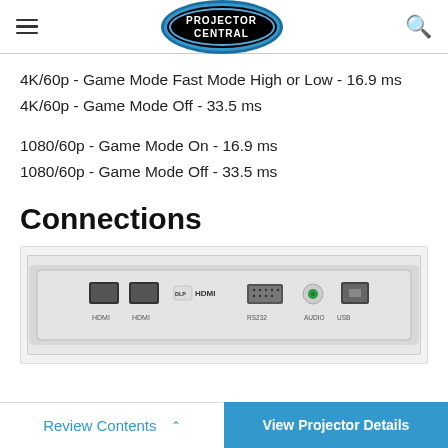PROJECTOR CENTRAL
4K/60p - Game Mode Fast Mode High or Low - 16.9 ms
4K/60p - Game Mode Off - 33.5 ms
1080/60p - Game Mode On - 16.9 ms
1080/60p - Game Mode Off - 33.5 ms
Connections
[Figure (photo): Rear panel of a white projector showing HDMI ports, RS232, audio jack, and USB port with DLP HDMI branding]
Review Contents  ^    View Projector Details